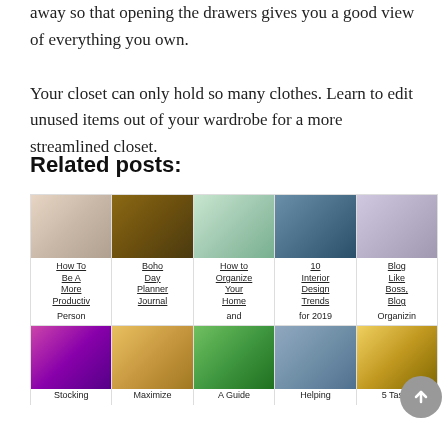away so that opening the drawers gives you a good view of everything you own.

Your closet can only hold so many clothes. Learn to edit unused items out of your wardrobe for a more streamlined closet.
Related posts:
[Figure (photo): Grid of related blog post thumbnails with titles: How To Be A More Productiv Person, Boho Day Planner Journal, How to Organize Your Home and, 10 Interior Design Trends for 2019, Blog Like Boss Blog Organizin, Stocking, Maximize, A Guide, Helping, 5 Tasks]
How To Be A More Productiv Person
Boho Day Planner Journal
How to Organize Your Home and
10 Interior Design Trends for 2019
Blog Like Boss, Blog Organizin
Stocking
Maximize
A Guide
Helping
5 Tasks